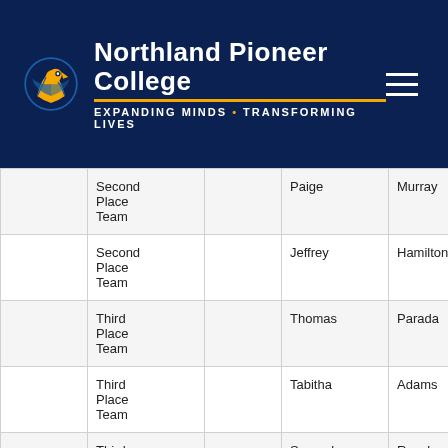[Figure (logo): Northland Pioneer College logo with eagle mascot and tagline 'Expanding Minds • Transforming Lives']
|  |  |  |  |  |  |
| --- | --- | --- | --- | --- | --- |
|  | Second Place Team |  | Paige | Murray | Little Colorado Campus |
|  | Second Place Team |  | Jeffrey | Hamilton | Painted Desert Campus |
|  | Third Place Team |  | Thomas | Parada | Painted Desert Campus |
|  | Third Place Team |  | Tabitha | Adams | Silver Creek Campus |
|  | Third Place Team |  | Samuel | Rosales | Silver Creek Campus |